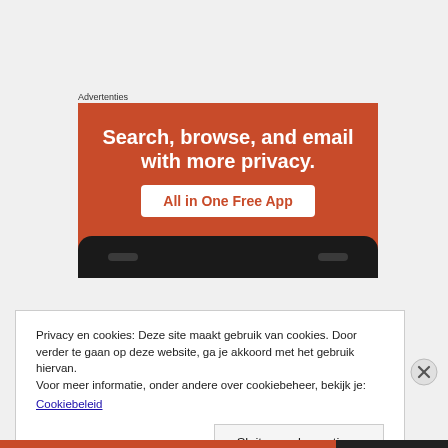Advertenties
[Figure (illustration): Orange advertisement banner for a privacy app. Text reads: 'Search, browse, and email with more privacy. All in One Free App'. Shows bottom portion of a smartphone.]
Privacy en cookies: Deze site maakt gebruik van cookies. Door verder te gaan op deze website, ga je akkoord met het gebruik hiervan.
Voor meer informatie, onder andere over cookiebeheer, bekijk je:
Cookiebeleid
Sluiten en bevestigen